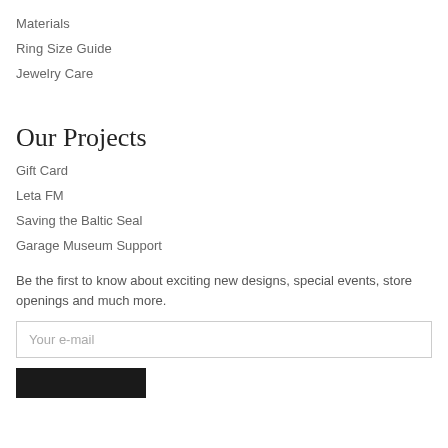Materials
Ring Size Guide
Jewelry Care
Our Projects
Gift Card
Leta FM
Saving the Baltic Seal
Garage Museum Support
Be the first to know about exciting new designs, special events, store openings and much more.
Your e-mail